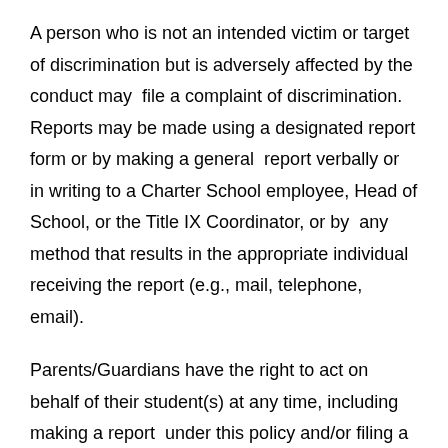A person who is not an intended victim or target of discrimination but is adversely affected by the conduct may file a complaint of discrimination. Reports may be made using a designated report form or by making a general report verbally or in writing to a Charter School employee, Head of School, or the Title IX Coordinator, or by any method that results in the appropriate individual receiving the report (e.g., mail, telephone, email).
Parents/Guardians have the right to act on behalf of their student(s) at any time, including making a report under this policy and/or filing a written complaint.
A Charter School employee, volunteer, or independent contractor ("reporting adult") who suspects or is notified